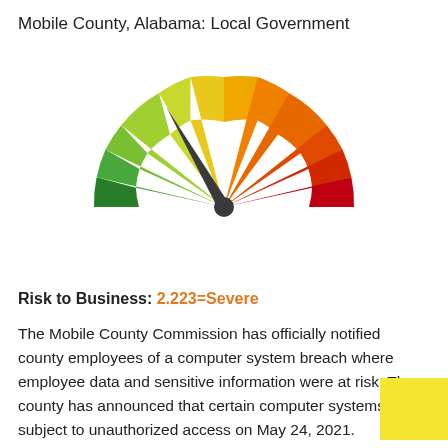Mobile County, Alabama: Local Government
[Figure (other): Speedometer/gauge chart showing risk level. The gauge has colored segments from green (left/low) through yellow, orange, to red (right/high). The needle points toward the orange-red zone indicating a severe risk level of 2.223.]
Risk to Business: 2.223=Severe
The Mobile County Commission has officially notified county employees of a computer system breach where employee data and sensitive information were at risk. The county has announced that certain computer systems were subject to unauthorized access on May 24, 2021.